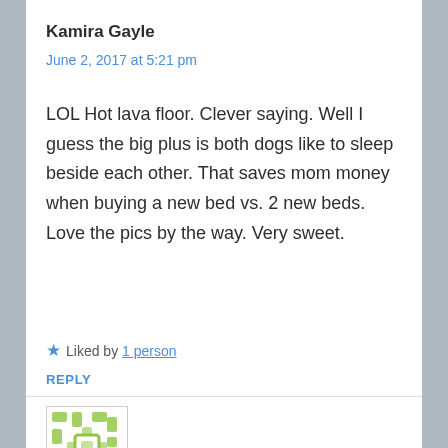[Figure (illustration): Partial avatar image at top (cropped, showing colorful thumbnail)]
Kamira Gayle
June 2, 2017 at 5:21 pm
LOL Hot lava floor. Clever saying. Well I guess the big plus is both dogs like to sleep beside each other. That saves mom money when buying a new bed vs. 2 new beds. Love the pics by the way. Very sweet.
Liked by 1 person
REPLY
[Figure (illustration): Green geometric pattern avatar image at bottom left]